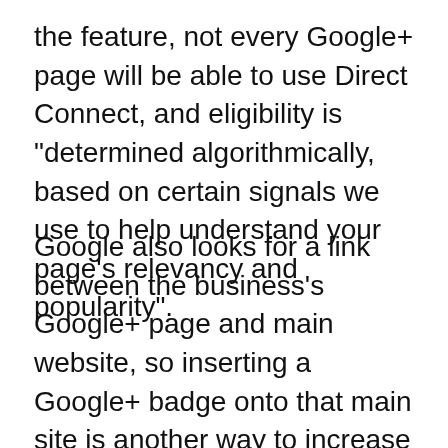the feature, not every Google+ page will be able to use Direct Connect, and eligibility is "determined algorithmically, based on certain signals we use to help understand your page's relevancy and popularity".
Google also looks for a link between the business's Google+ page and main website, so inserting a Google+ badge onto that main site is another way to increase the chances of Direct Connect working.